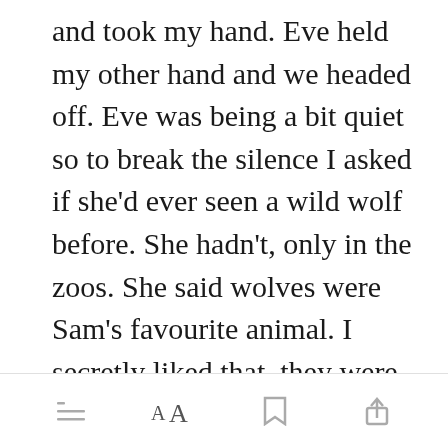and took my hand. Eve held my other hand and we headed off. Eve was being a bit quiet so to break the silence I asked if she'd ever seen a wild wolf before. She hadn't, only in the zoos. She said wolves were Sam's favourite animal. I secretly liked that, they were mine too. I also liked that Sam had never said a word about my blindness, most kids his age I'd con[Open in app]; were always
[Figure (screenshot): Bottom navigation bar with menu (lines icon), font size (AA), bookmark, and share icons]